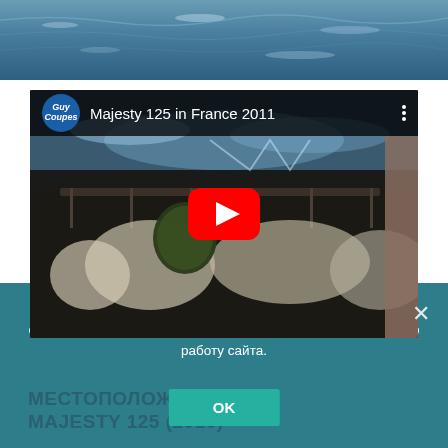[Figure (photo): Top banner showing ocean/sea water surface with blue-grey tones]
[Figure (screenshot): YouTube video thumbnail showing 'Majesty 125 in France 2011' — people sunbathing on yacht deck with red YouTube play button in center and video bar with Guy Coupes channel logo at top]
Продолжая использовать наш сайт, вы даете согласие на обработку файлов cookie, которые обеспечивают правильную работу сайта.
МЕСТОПОЛОЖЕНИЕ MAJESTY 125 (2010)